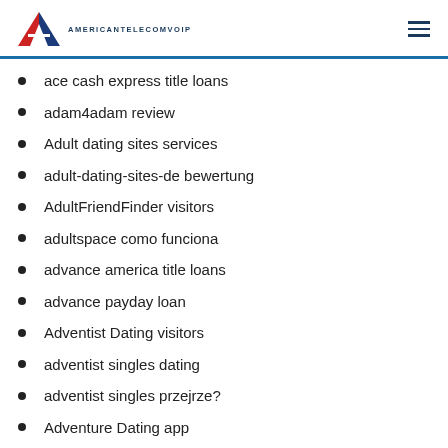AMERICANTELECOMVOIP
ace cash express title loans
adam4adam review
Adult dating sites services
adult-dating-sites-de bewertung
AdultFriendFinder visitors
adultspace como funciona
advance america title loans
advance payday loan
Adventist Dating visitors
adventist singles dating
adventist singles przejrze?
Adventure Dating app